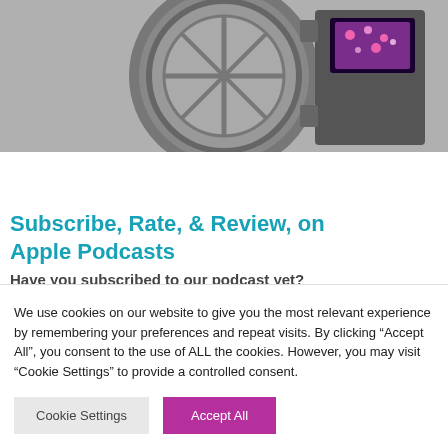[Figure (photo): Grayscale photo of a large vault door open, with a pink/purple glowing screen or image visible through the vault opening.]
GET THIS GIFT AND MANY MORE!
Subscribe, Rate, & Review, on Apple Podcasts
Have you subscribed to our podcast yet?
If not, I encourage you to do that today so you
We use cookies on our website to give you the most relevant experience by remembering your preferences and repeat visits. By clicking “Accept All”, you consent to the use of ALL the cookies. However, you may visit “Cookie Settings” to provide a controlled consent.
Cookie Settings
Accept All